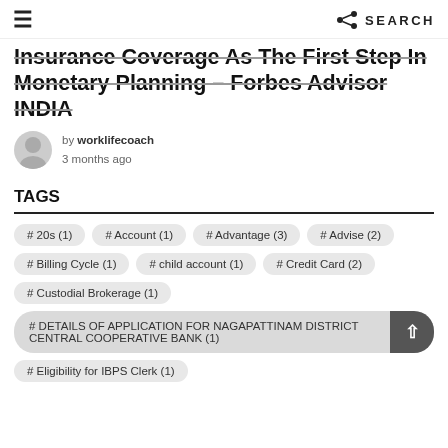≡  SEARCH
Insurance Coverage As The First Step In Monetary Planning – Forbes Advisor INDIA
by worklifecoach
3 months ago
TAGS
# 20s (1)
# Account (1)
# Advantage (3)
# Advise (2)
# Billing Cycle (1)
# child account (1)
# Credit Card (2)
# Custodial Brokerage (1)
# DETAILS OF APPLICATION FOR NAGAPATTINAM DISTRICT CENTRAL COOPERATIVE BANK (1)
# Eligibility for IBPS Clerk (1)